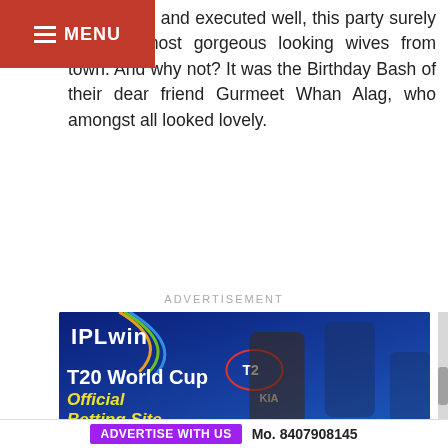All planned and executed well, this party surely sed the most gorgeous looking wives from town. And why not? It was the Birthday Bash of their dear friend Gurmeet Whan Alag, who amongst all looked lovely.
ADVERTISEMENT
[Figure (photo): IPLwin advertisement banner featuring cricket players with T20 World Cup Official Betting Site text on blue background]
ADVERTISE WITH US   Mo. 8407908145